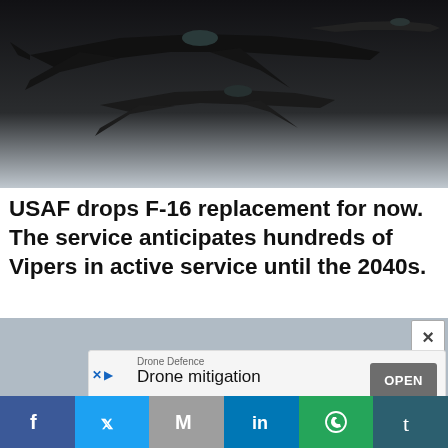[Figure (photo): Two F-16 fighter jets flying in formation over clouds, dark silhouettes against a grey-white sky]
USAF drops F-16 replacement for now. The service anticipates hundreds of Vipers in active service until the 2040s.
[Figure (screenshot): Advertisement popup: Drone Defence - Drone mitigation - OPEN button, with X close button]